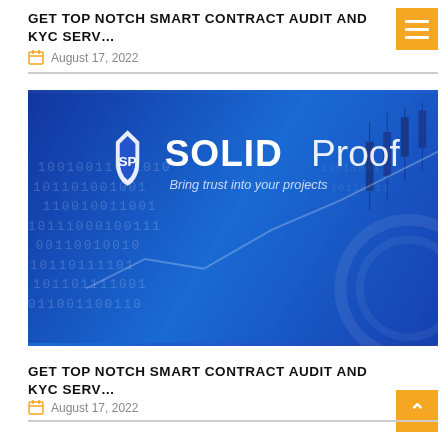GET TOP NOTCH SMART CONTRACT AUDIT AND KYC SERV…
August 17, 2022
[Figure (logo): SolidProof logo on blue binary code background with candlestick chart patterns. Text: SOLID Proof — Bring trust into your projects]
GET TOP NOTCH SMART CONTRACT AUDIT AND KYC SERV…
August 17, 2022